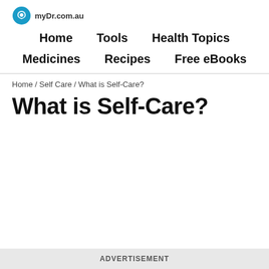myDr.com.au
Home  Tools  Health Topics  Medicines  Recipes  Free eBooks
Home/Self Care/What is Self-Care?
What is Self-Care?
ADVERTISEMENT